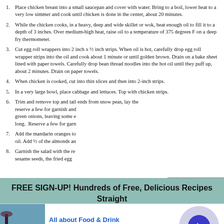Place chicken breast into a small saucepan and cover with water. Bring to a boil, lower heat to a very low simmer and cook until chicken is done in the center, about 20 minutes.
While the chicken cooks, in a heavy, deep and wide skillet or wok, heat enough oil to fill it to a depth of 3 inches. Over medium-high heat, raise oil to a temperature of 375 degrees F on a deep fry thermometer.
Cut egg roll wrappers into 2 inch x ½ inch strips. When oil is hot, carefully drop egg roll wrapper strips into the oil and cook about 1 minute or until golden brown. Drain on a bake sheet lined with paper towels. Carefully drop bean thread noodles into the hot oil until they puff up, about 2 minutes. Drain on paper towels.
When chicken is cooked, cut into thin slices and then into 2-inch strips.
In a very large bowl, place cabbage and lettuces. Top with chicken strips.
Trim and remove top and tail ends from snow peas, lay the reserve a few for garnish and green onions, leaving some e long.  Reserve a few for garn
[Figure (screenshot): Video player showing food preparation with bowl and ingredients, with playback controls visible]
Add the mandarin oranges to oil. Add ½ of the almonds an
Garnish the salad with the re sesame seeds, the fried egg
FREE SIGN-UP! Hundreds of Free, Delicious Recipes Straight to Your Inbox.
[Figure (screenshot): Advertisement: All about Food & Drink - visit neatmaids.com/ to learn more - www.neatmaids.com with food image and arrow button]